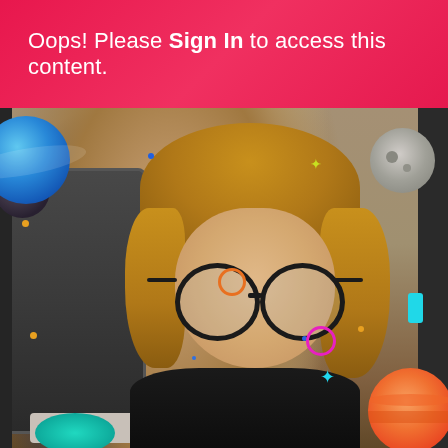Oops! Please Sign In to access this content.
[Figure (photo): A smiling child with shoulder-length blonde hair wearing large round black-framed glasses and a black shirt, sitting in front of a computer monitor. The image is overlaid with colorful decorative space-themed elements including planets, moons, stars, and geometric shapes in blue, orange, cyan, magenta, and yellow.]